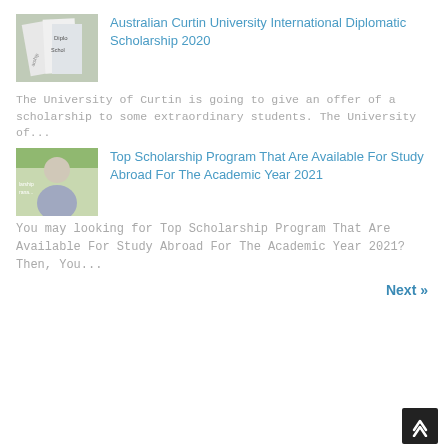[Figure (photo): Thumbnail image showing scholarship-related documents with text 'Diploma' and 'Scholarship']
Australian Curtin University International Diplomatic Scholarship 2020
The University of Curtin is going to give an offer of a scholarship to some extraordinary students. The University of...
[Figure (photo): Thumbnail image showing a young man with glasses smiling, with text 'larship rana...' overlay]
Top Scholarship Program That Are Available For Study Abroad For The Academic Year 2021
You may looking for Top Scholarship Program That Are Available For Study Abroad For The Academic Year 2021? Then, You...
Next »